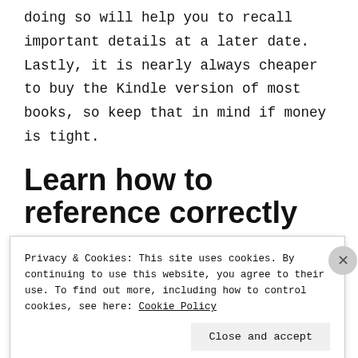doing so will help you to recall important details at a later date. Lastly, it is nearly always cheaper to buy the Kindle version of most books, so keep that in mind if money is tight.
Learn how to reference correctly
Privacy & Cookies: This site uses cookies. By continuing to use this website, you agree to their use. To find out more, including how to control cookies, see here: Cookie Policy